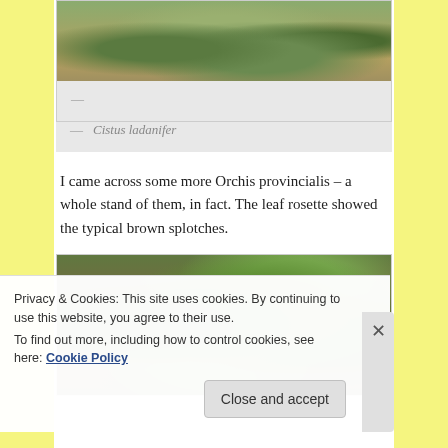[Figure (photo): Partial view of Cistus ladanifer shrub in natural scrubland habitat, showing green-grey foliage against sandy/rocky ground]
— Cistus ladanifer
I came across some more Orchis provincialis – a whole stand of them, in fact.  The leaf rosette showed the typical brown splotches.
[Figure (photo): Close-up photo of Orchis provincialis leaf rosette showing green leaves with brown splotches on ground among dry vegetation]
Privacy & Cookies: This site uses cookies. By continuing to use this website, you agree to their use.
To find out more, including how to control cookies, see here: Cookie Policy